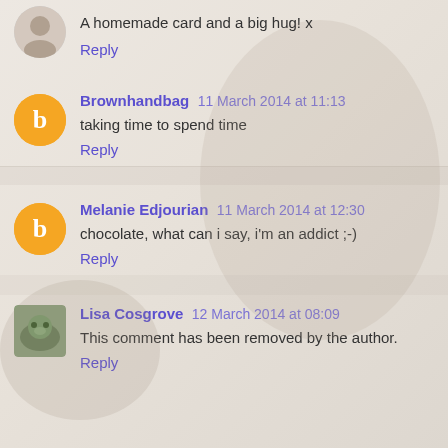A homemade card and a big hug! x
Reply
Brownhandbag 11 March 2014 at 11:13
taking time to spend time
Reply
Melanie Edjourian 11 March 2014 at 12:30
chocolate, what can i say, i'm an addict ;-)
Reply
Lisa Cosgrove 12 March 2014 at 08:09
This comment has been removed by the author.
Reply